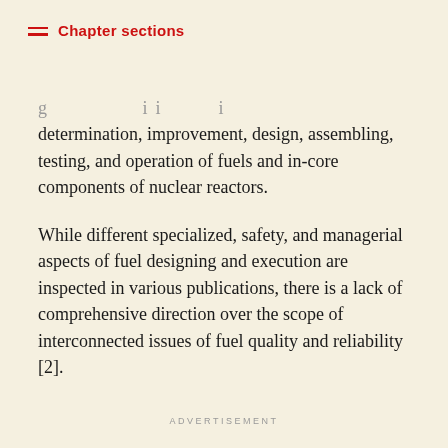Chapter sections
determination, improvement, design, assembling, testing, and operation of fuels and in-core components of nuclear reactors.
While different specialized, safety, and managerial aspects of fuel designing and execution are inspected in various publications, there is a lack of comprehensive direction over the scope of interconnected issues of fuel quality and reliability [2].
Advertisement